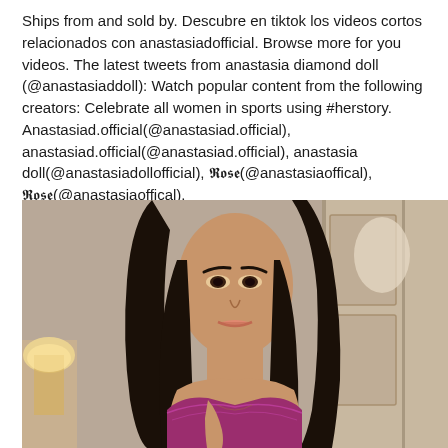Ships from and sold by. Descubre en tiktok los videos cortos relacionados con anastasiadofficial. Browse more for you videos. The latest tweets from anastasia diamond doll (@anastasiaddoll): Watch popular content from the following creators: Celebrate all women in sports using #herstory. Anastasiad.official(@anastasiad.official), anastasiad.official(@anastasiad.official), anastasia doll(@anastasiadollofficial), 𝕽𝖔𝖘𝖊(@anastasiaoffical), 𝕽𝖔𝖘𝖊(@anastasiaoffical).
[Figure (photo): A woman with long dark hair wearing a purple/magenta lingerie top, posing indoors with a lamp and door visible in the background.]